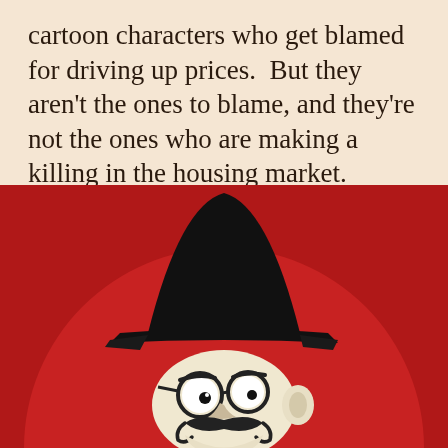cartoon characters who get blamed for driving up prices. But they aren't the ones to blame, and they're not the ones who are making a killing in the housing market.
[Figure (illustration): Cartoon illustration of a villainous character wearing a tall black top hat with a thick black brim, small round glasses, and a curly mustache. The character has a scowling expression. The background is dark red with a large lighter red circle behind the figure. The character's face is white/cream colored.]